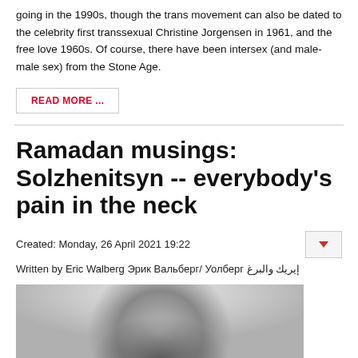going in the 1990s, though the trans movement can also be dated to the celebrity first transsexual Christine Jorgensen in 1961, and the free love 1960s. Of course, there have been intersex (and male-male sex) from the Stone Age.
READ MORE ...
Ramadan musings: Solzhenitsyn -- everybody's pain in the neck
Created: Monday, 26 April 2021 19:22
Written by Eric Walberg Эрик Вальберг/ Уолберг إيريك والبرغ
[Figure (photo): Black and white photograph of a person, cropped showing head and upper body]